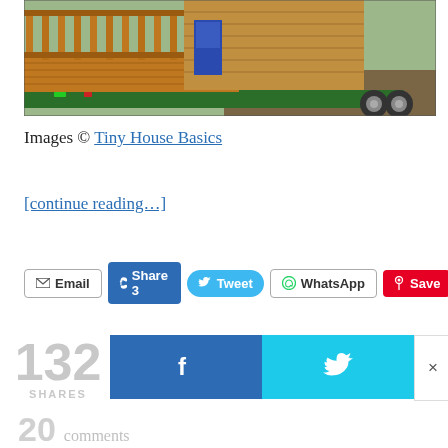[Figure (photo): Photo of a tiny house on a trailer with wooden decking and railing, green trailer frame, outdoors on dirt ground]
Images © Tiny House Basics
[continue reading…]
Email  Share 3  Tweet  WhatsApp  Save  76
132 SHARES
20 comments